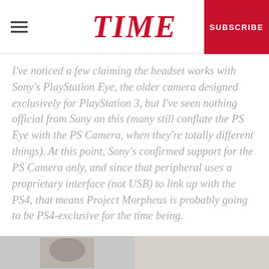TIME | SUBSCRIBE
I've noticed a few claiming the headset works with Sony's PlayStation Eye, the older camera designed exclusively for PlayStation 3, but I've seen nothing official from Sony on this (many still conflate the PS Eye with the PS Camera, when they're totally different things). At this point, Sony's confirmed support for the PS Camera only, and since that peripheral uses a proprietary interface (not USB) to link up with the PS4, that means Project Morpheus is probably going to be PS4-exclusive for the time being.
[Figure (photo): Two partial images visible at the bottom of the page — left appears to be a grey/beige object, right is a light-colored rectangular object or screenshot]